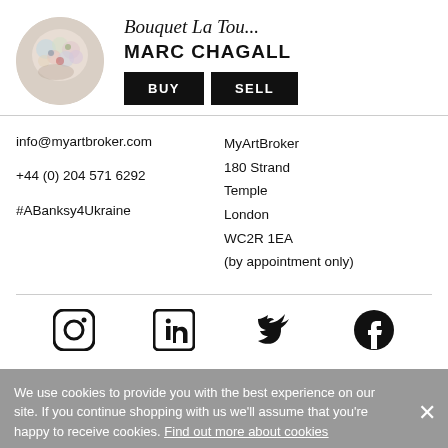[Figure (illustration): Circular thumbnail of a floral artwork by Marc Chagall]
Bouquet La Tou...
MARC CHAGALL
BUY | SELL
info@myartbroker.com
+44 (0) 204 571 6292
#ABanksy4Ukraine
MyArtBroker
180 Strand
Temple
London
WC2R 1EA
(by appointment only)
[Figure (logo): Instagram icon]
[Figure (logo): LinkedIn icon]
[Figure (logo): Twitter icon]
[Figure (logo): Facebook icon]
We use cookies to provide you with the best experience on our site. If you continue shopping with us we'll assume that you're happy to receive cookies. Find out more about cookies